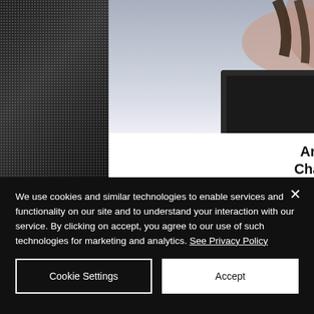[Figure (screenshot): Website article card showing a photo of a person using a laptop/tablet with a graphic stylus, with article title 'An Internship to Change the World' and subtitle 'With the importance of']
An Internship to Change the World
With the importance of
We use cookies and similar technologies to enable services and functionality on our site and to understand your interaction with our service. By clicking on accept, you agree to our use of such technologies for marketing and analytics. See Privacy Policy
Cookie Settings
Accept